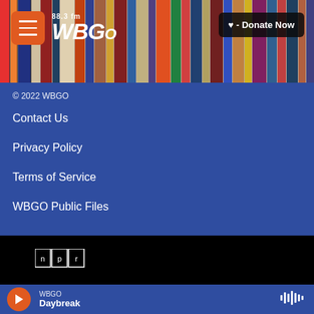[Figure (screenshot): WBGO 88.3 FM radio station website screenshot showing header with logo, donate button, blue footer navigation section with links, NPR logo section, and audio player bar at bottom]
88.3 fm WBGO
♥ - Donate Now
© 2022 WBGO
Contact Us
Privacy Policy
Terms of Service
WBGO Public Files
[Figure (logo): NPR logo in white text on black background]
WBGO Daybreak